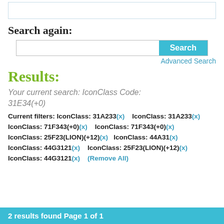[Figure (screenshot): Top partial box/border element from previous page content]
Search again:
[Figure (screenshot): Search input box with Search button]
Advanced Search
Results:
Your current search: IconClass Code: 31E34(+0)
Current filters: IconClass: 31A233(x)   IconClass: 31A233(x) IconClass: 71F343(+0)(x)   IconClass: 71F343(+0)(x) IconClass: 25F23(LION)(+12)(x)   IconClass: 44A31(x) IconClass: 44G3121(x)   IconClass: 25F23(LION)(+12)(x) IconClass: 44G3121(x)   (Remove All)
2 results found Page 1 of 1